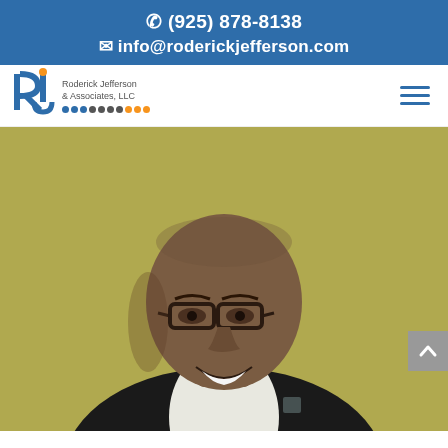(925) 878-8138 | info@roderickjefferson.com
[Figure (logo): Roderick Jefferson & Associates, LLC logo with stylized RJ monogram in blue and orange]
[Figure (photo): Professional headshot of a bald African-American man wearing glasses and a dark blazer over a white shirt, smiling, against an olive/gold background]